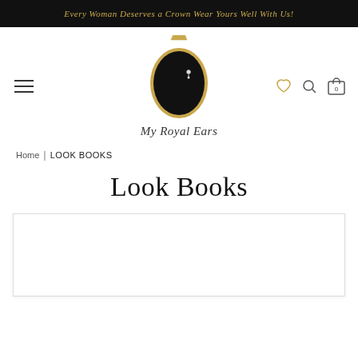Every Woman Deserves a Crown Wear Yours Well With Us!
[Figure (logo): My Royal Ears logo: oval cameo with black silhouette of a woman wearing an earring, gold crown on top, decorative black and gold border, with script text 'My Royal Ears' below]
Home | LOOK BOOKS
Look Books